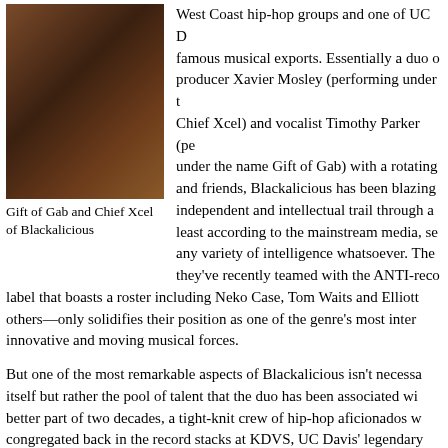[Figure (photo): Photo of Gift of Gab and Chief Xcel of Blackalicious, two men standing together]
Gift of Gab and Chief Xcel of Blackalicious
West Coast hip-hop groups and one of UC Davis' most famous musical exports. Essentially a duo of producer Xavier Mosley (performing under the name Chief Xcel) and vocalist Timothy Parker (performing under the name Gift of Gab) with a rotating cast of and friends, Blackalicious has been blazing an independent and intellectual trail through a least according to the mainstream media, seems to lack any variety of intelligence whatsoever. The fact that they've recently teamed with the ANTI-records label that boasts a roster including Neko Case, Tom Waits and Elliott Smith, among others—only solidifies their position as one of the genre's most interesting, innovative and moving musical forces.
But one of the most remarkable aspects of Blackalicious isn't necessarily the music itself but rather the pool of talent that the duo has been associated with. For the better part of two decades, a tight-knit crew of hip-hop aficionados who originally congregated back in the record stacks at KDVS, UC Davis' legendary freeform radio station, and who, through sheer determination, business sense and striving imagination, became some of the biggest success stories in the independent hip-hop scene.
Of course, back in the early 1990s, things were much different. Josh Davis, the man who would by 1996 revolutionize instrumental hip-hop under the name DJ
[Figure (photo): Partial dark photo on the bottom right, appears to show text or a logo]